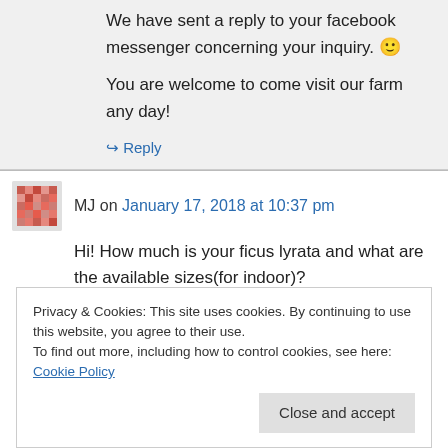We have sent a reply to your facebook messenger concerning your inquiry. 🙂 You are welcome to come visit our farm any day!
↪ Reply
MJ on January 17, 2018 at 10:37 pm
Hi! How much is your ficus lyrata and what are the available sizes(for indoor)?
Privacy & Cookies: This site uses cookies. By continuing to use this website, you agree to their use. To find out more, including how to control cookies, see here: Cookie Policy
Close and accept
11:24 am